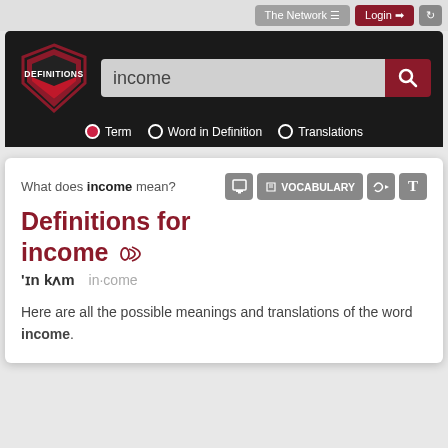The Network  Login
[Figure (logo): DEFINITIONS shield logo — red and white shield with the word DEFINITIONS inside]
income
Term   Word in Definition   Translations
What does income mean?
Definitions for income
'ɪn kʌm   in·come
Here are all the possible meanings and translations of the word income.